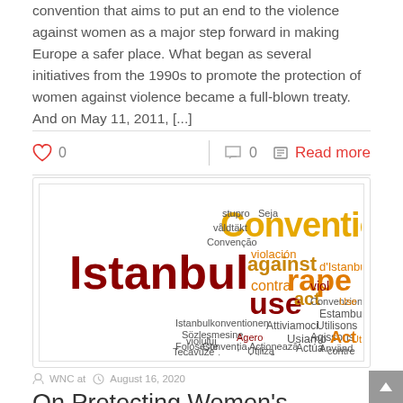convention that aims to put an end to the violence against women as a major step forward in making Europe a safer place. What began as several initiatives from the 1990s to promote the protection of women against violence became a full-blown treaty. And on May 11, 2011, [...]
[Figure (infographic): Word cloud featuring 'Istanbul Convention against rape use act' and multilingual translations of related terms in dark red, gold, and orange colors]
WNC at   August 16, 2020
On Protecting Women's